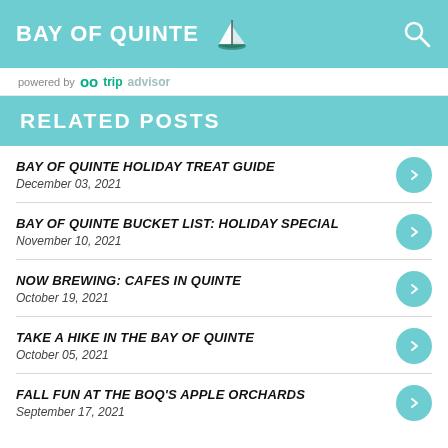BAY OF QUINTE
powered by tripadvisor
RELATED POSTS
BAY OF QUINTE HOLIDAY TREAT GUIDE
December 03, 2021
BAY OF QUINTE BUCKET LIST: HOLIDAY SPECIAL
November 10, 2021
NOW BREWING: CAFES IN QUINTE
October 19, 2021
TAKE A HIKE IN THE BAY OF QUINTE
October 05, 2021
FALL FUN AT THE BOQ'S APPLE ORCHARDS
September 17, 2021